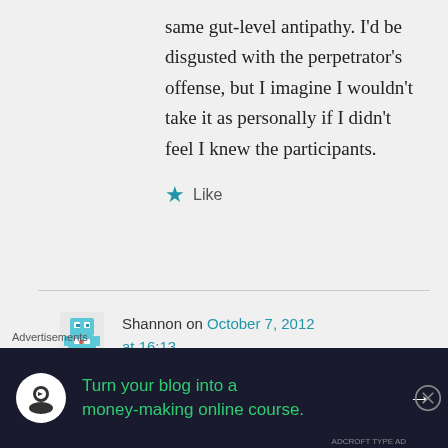same gut-level antipathy. I'd be disgusted with the perpetrator's offense, but I imagine I wouldn't take it as personally if I didn't feel I knew the participants.
★ Like
Shannon on October 7, 2012 at 16:13
People knew the victims of
Advertisements
[Figure (infographic): Advertisement banner: dark navy background with green text 'Turn your blog into a money-making online course.' with a white circular icon and arrow.]